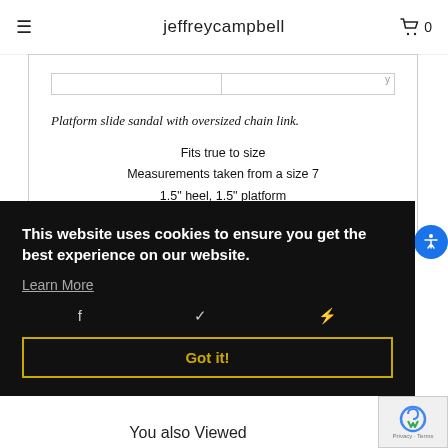jeffreycampbell
Platform slide sandal with oversized chain link.
Fits true to size
Measurements taken from a size 7
1.5" heel, 1.5" platform
Synthetic Upper, Synthetic Lining, Synthetic Sole
This website uses cookies to ensure you get the best experience on our website.
Learn More
Got it!
You also Viewed